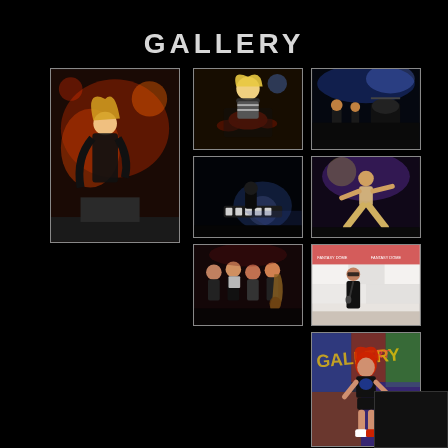GALLERY
[Figure (photo): Concert performer on stage with red lighting, crouching on a speaker, long blonde hair]
[Figure (photo): Blonde drummer playing drums on stage in striped shirt]
[Figure (photo): Band on stage with blue lighting and drum kit visible]
[Figure (photo): Dark concert stage with spotlight on keyboard player]
[Figure (photo): Singer performing on stage with spotlight, wide stance]
[Figure (photo): Group of people at a concert event, guitar visible]
[Figure (photo): Woman in black outfit and sunglasses on a press/sponsor backdrop]
[Figure (photo): Young woman with red hair in casual outfit standing in front of graffiti wall]